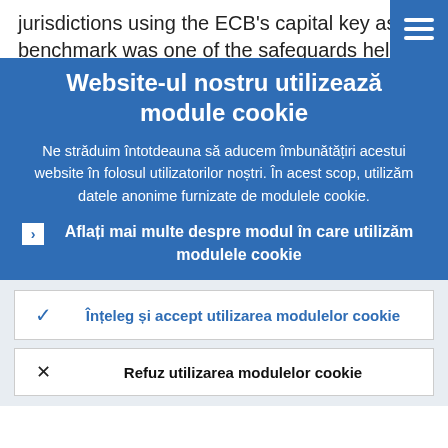jurisdictions using the ECB's capital key as the benchmark was one of the safeguards helping to maintain incentives for sound
Website-ul nostru utilizează module cookie
Ne străduim întotdeauna să aducem îmbunătățiri acestui website în folosul utilizatorilor noștri. În acest scop, utilizăm datele anonime furnizate de modulele cookie.
Aflați mai multe despre modul în care utilizăm modulele cookie
Înțeleg și accept utilizarea modulelor cookie
Refuz utilizarea modulelor cookie